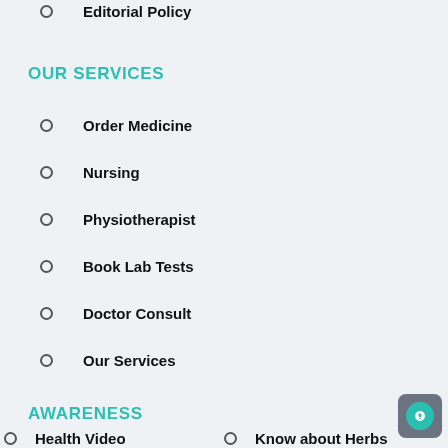Editorial Policy
OUR SERVICES
Order Medicine
Nursing
Physiotherapist
Book Lab Tests
Doctor Consult
Our Services
AWARENESS
Health Video
Know about Herbs